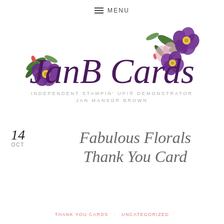≡ MENU
[Figure (logo): JanB Cards logo with floral watercolor decorations (purple and pink flowers with green leaves). Script text reads 'JanB Cards' in purple. Below: 'INDEPENDENT STAMPIN' UP!® DEMONSTRATOR JAN MANSOR BROWN']
14
OCT
Fabulous Florals Thank You Card
THANK YOU CARDS   ·   UNCATEGORIZED